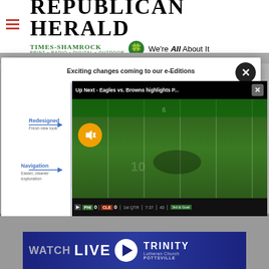[Figure (screenshot): Republican Herald newspaper website header with Times-Shamrock logo, hamburger menu icon, and tagline 'We're All About It']
[Figure (screenshot): Modal popup showing 'Exciting changes coming to our e-Editions' with diagram of redesigned navigation features and arrows pointing to 'Redesigned - Fresh new look' and 'Navigation - Easier, cleaner exploration']
[Figure (screenshot): Video overlay titled 'Up Next - Eagles vs. Browns highlights P...' showing football field with score bar: PHI 0, CLE 0, 1st QTR, 7:37, 40, 3rd & Goal. Ad 1 of 1 (0:15) with mute button.]
[Figure (screenshot): Bottom strip showing 'WATCH LIVE' banner with play button and Trinity Lutheran Church Pottsville logo]